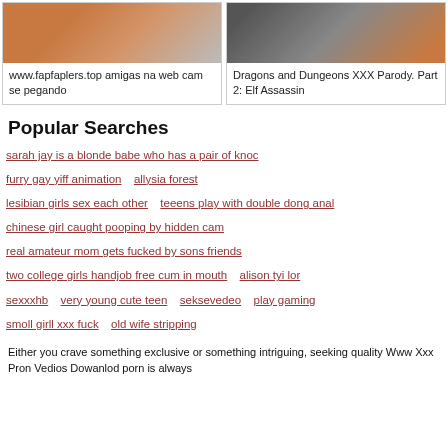[Figure (photo): Two video thumbnail images side by side. Left shows a room scene, right shows a person smiling.]
www.fapfaplers.top amigas na web cam se pegando
Dragons and Dungeons XXX Parody. Part 2: Elf Assassin
Popular Searches
sarah jay is a blonde babe who has a pair of knoc
furry gay yiff animation   allysia forest
lesibian girls sex each other   teeens play with double dong anal
chinese girl caught pooping by hidden cam
real amateur mom gets fucked by sons friends
two college girls handjob free cum in mouth   alison tyi lor
sexxxhb   very young cute teen   seksevedeo   play gaming
smoll girll xxx fuck   old wife stripping
Either you crave something exclusive or something intriguing, seeking quality Www Xxx Pron Vedios Dowanlod porn is always